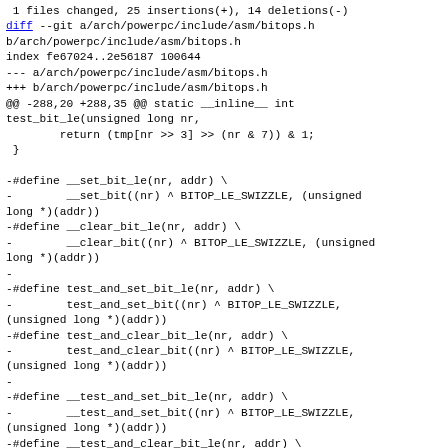1 files changed, 25 insertions(+), 14 deletions(-)
diff --git a/arch/powerpc/include/asm/bitops.h b/arch/powerpc/include/asm/bitops.h
index fe67024..2e56187 100644
--- a/arch/powerpc/include/asm/bitops.h
+++ b/arch/powerpc/include/asm/bitops.h
@@ -288,20 +288,35 @@ static __inline__ int test_bit_le(unsigned long nr,
        return (tmp[nr >> 3] >> (nr & 7)) & 1;
 }

-#define __set_bit_le(nr, addr) \
-        __set_bit((nr) ^ BITOP_LE_SWIZZLE, (unsigned long *)(addr))
-#define __clear_bit_le(nr, addr) \
-        __clear_bit((nr) ^ BITOP_LE_SWIZZLE, (unsigned long *)(addr))
-
-#define test_and_set_bit_le(nr, addr) \
-        test_and_set_bit((nr) ^ BITOP_LE_SWIZZLE, (unsigned long *)(addr))
-#define test_and_clear_bit_le(nr, addr) \
-        test_and_clear_bit((nr) ^ BITOP_LE_SWIZZLE, (unsigned long *)(addr))
-
-#define __test_and_set_bit_le(nr, addr) \
-        __test_and_set_bit((nr) ^ BITOP_LE_SWIZZLE, (unsigned long *)(addr))
-#define __test_and_clear_bit_le(nr, addr) \
-        __test_and_clear_bit((nr) ^ BITOP_LE_SWIZZLE,